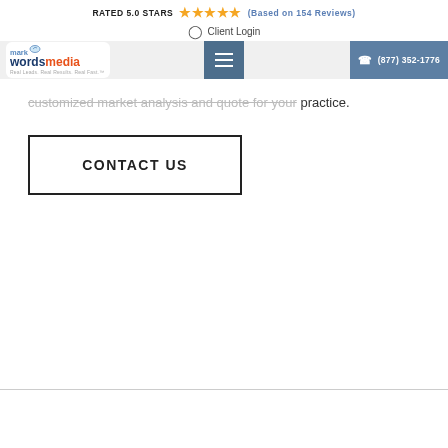RATED 5.0 STARS ★★★★★ (Based on 154 Reviews)
Client Login
mark wordsmedia | (877) 352-1776
customized market analysis and quote for your practice.
CONTACT US